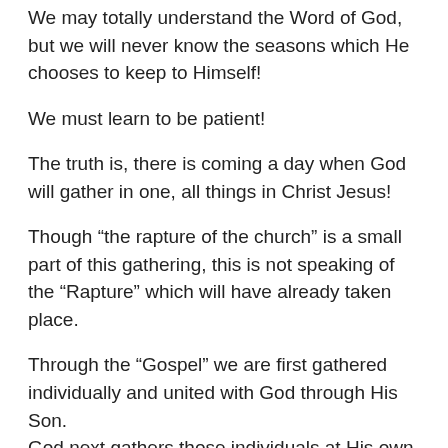We may totally understand the Word of God, but we will never know the seasons which He chooses to keep to Himself!
We must learn to be patient!
The truth is, there is coming a day when God will gather in one, all things in Christ Jesus!
Though “the rapture of the church” is a small part of this gathering, this is not speaking of the “Rapture” which will have already taken place.
Through the “Gospel” we are first gathered individually and united with God through His Son.
God next gathers those individuals at His own pleasure, whether it be by age, or illness, or other means.